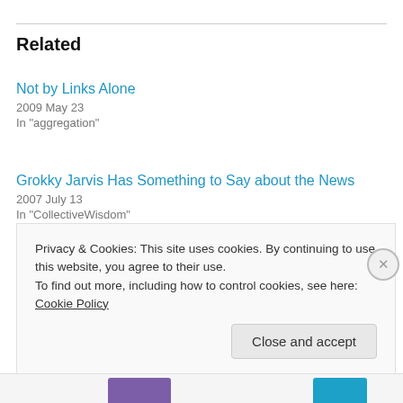Related
Not by Links Alone
2009 May 23
In "aggregation"
Grokky Jarvis Has Something to Say about the News
2007 July 13
In "CollectiveWisdom"
What the Structure of Content Means for Context
2009 March 19
In "blogging"
Privacy & Cookies: This site uses cookies. By continuing to use this website, you agree to their use.
To find out more, including how to control cookies, see here: Cookie Policy